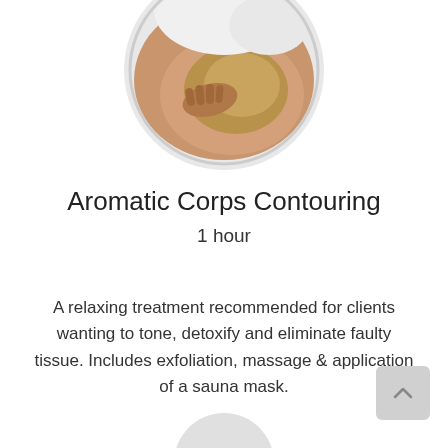[Figure (photo): Circular photo showing hands applying a body treatment/mask to a person's torso]
Aromatic Corps Contouring
1 hour
A relaxing treatment recommended for clients wanting to tone, detoxify and eliminate faulty tissue. Includes exfoliation, massage & application of a sauna mask.